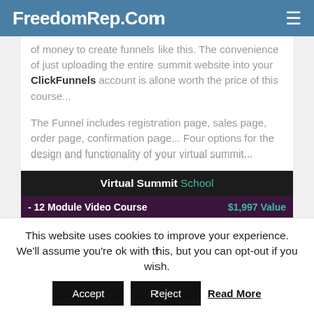FreedomRep.Com
of money to create funnels like this. The convenience of just uploading the entire summit website into your ClickFunnels account is alone worth the price of this course...
The Funnel includes registration page, sales page, order page, confirmation page... Four options for the design and functionality of your virtual summit...
| Virtual Summit School |  |
| --- | --- |
| - 12 Module Video Course | $1,997 Value |
| - 90-Day Launch Plan | $  487 Value |
This website uses cookies to improve your experience. We'll assume you're ok with this, but you can opt-out if you wish.